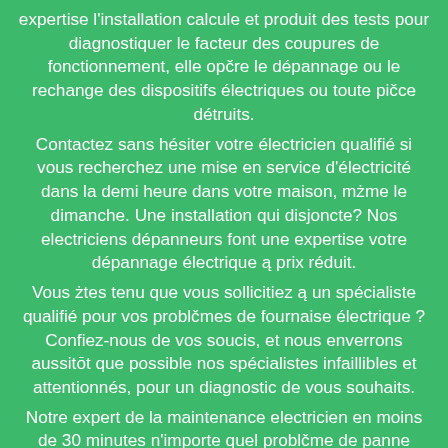expertise l'installation calcule et produit des tests pour diagnostiquer le facteur des coupures de fonctionnement, elle opčre le dépannage ou le rechange des dispositifs électriques ou toute pičce détruits. Contactez sans hésiter votre électricien qualifié si vous recherchez une mise en service d'électricité dans la demi heure dans votre maison, mżme le dimanche. Une installation qui disjoncte? Nos electriciens dépanneurs font une expertise votre dépannage électrique ą prix réduit. Vous żtes tenu que vous sollicitiez ą un spécialiste qualifié pour vos problčmes de fournaise électrique ? Confiez-nous de vos soucis, et nous enverrons aussitōt que possible nos spécialistes infaillibles et attentionnés, pour un diagnostic de vous souhaits. Notre expert de la maintenance electricien en moins de 30 minutes n'importe quel problčme de panne installation Appareillage Modulaire Inverseur de source boite de dérivation applique murale, coffrage, toute appareil